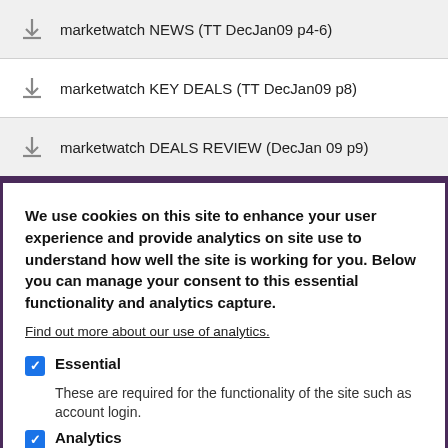marketwatch NEWS (TT DecJan09 p4-6)
marketwatch KEY DEALS (TT DecJan09 p8)
marketwatch DEALS REVIEW (DecJan 09 p9)
We use cookies on this site to enhance your user experience and provide analytics on site use to understand how well the site is working for you. Below you can manage your consent to this essential functionality and analytics capture.
Find out more about our use of analytics.
Essential
These are required for the functionality of the site such as account login.
Analytics
Analytics used to improve the service we provide